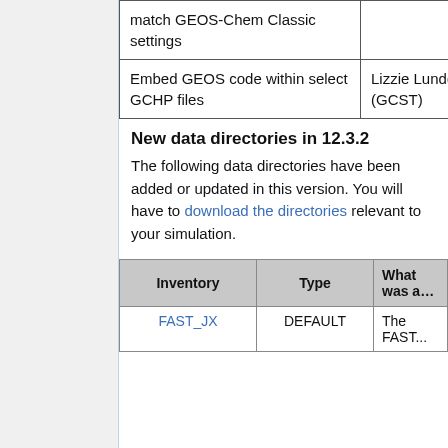|  |  |  |
| --- | --- | --- |
| match GEOS-Chem Classic settings |  |  |
| Embed GEOS code within select GCHP files | Lizzie Lundgren (GCST) | Structu... |
New data directories in 12.3.2
The following data directories have been added or updated in this version. You will have to download the directories relevant to your simulation.
| Inventory | Type | What was a... |
| --- | --- | --- |
| FAST_JX | DEFAULT | The FAST... |